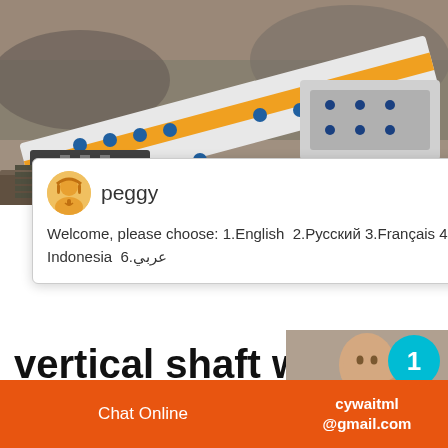[Figure (photo): Aerial or close-up view of heavy industrial mining/crushing machinery with orange and white conveyor belt structure against rocky/sandy terrain background]
peggy
Welcome, please choose: 1.English  2.Русский 3.Français  4.Español  5.bahasa Indonesia  6.عربي
vertical shaft wear ball mill emirek.pl
Roll Mill Industrial Ball Mill Typ, difference roller mill and ball mill, Types Of Pulveriz...
[Figure (photo): Person in blue striped shirt, with cyan notification badge showing number 1, and orange Click to chat button below]
Enquiry
Chat Online    cywaitml @gmail.com